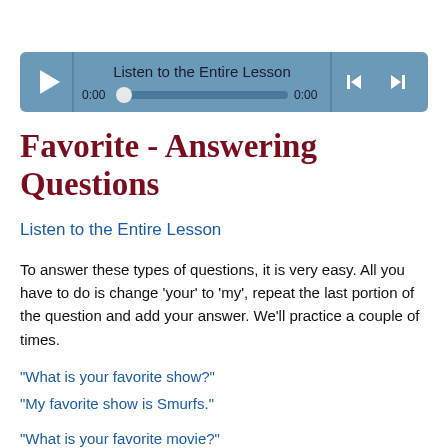[Figure (other): Audio player with play button, progress bar showing 0:00 on both sides, previous and next track buttons, labeled 'Listen to the Entire Lesson']
Favorite - Answering Questions
Listen to the Entire Lesson
To answer these types of questions, it is very easy. All you have to do is change 'your' to 'my', repeat the last portion of the question and add your answer. We'll practice a couple of times.
"What is your favorite show?"
"My favorite show is Smurfs."
"What is your favorite movie?"
"My favorite movie is Matrix."